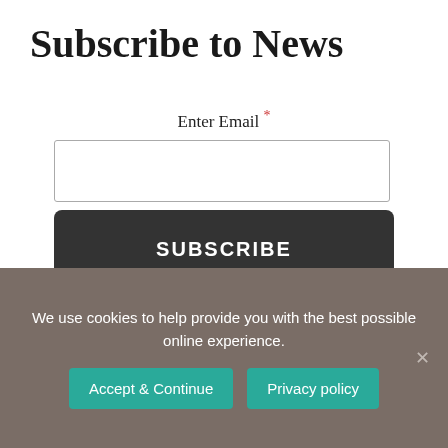Subscribe to News
Enter Email *
SUBSCRIBE
We use cookies to help provide you with the best possible online experience.
Accept & Continue
Privacy policy